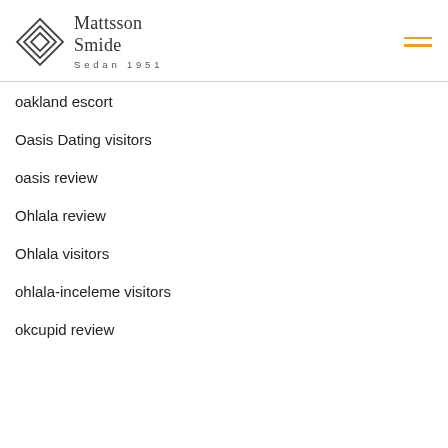Mattsson Smide | Sedan 1951
oakland escort
Oasis Dating visitors
oasis review
Ohlala review
Ohlala visitors
ohlala-inceleme visitors
okcupid review